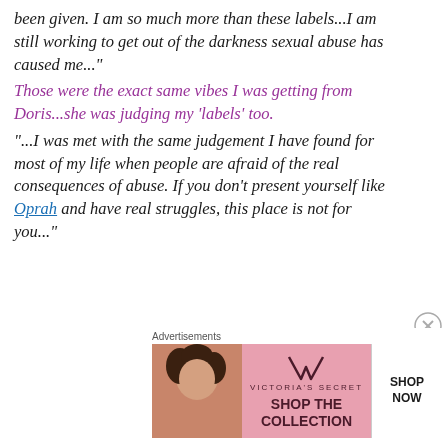been given. I am so much more than these labels...I am still working to get out of the darkness sexual abuse has caused me..."
Those were the exact same vibes I was getting from Doris...she was judging my 'labels' too.
"...I was met with the same judgement I have found for most of my life when people are afraid of the real consequences of abuse. If you don't present yourself like Oprah and have real struggles, this place is not for you..."
[Figure (other): Victoria's Secret advertisement banner showing a woman with curly hair, VS logo, 'SHOP THE COLLECTION' text, and 'SHOP NOW' button]